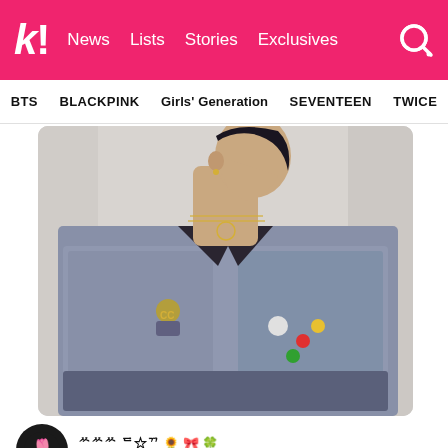k! News Lists Stories Exclusives
BTS BLACKPINK Girls' Generation SEVENTEEN TWICE
[Figure (photo): A person wearing a fuzzy blue-grey sweater jacket with decorative pins/brooches, layered gold necklaces, and a dark patterned collar. Photographed from the side showing profile of face and upper body.]
ᄊᄊᄊ ᄃ☆ᄁ 🌻 🎀 🍀 @leijichoi · Follow
Ugh! He's sassy and still got swag. All-in-one? All those accessories and yet it looks perfect.Clean. 💜💛 #GDRAGON